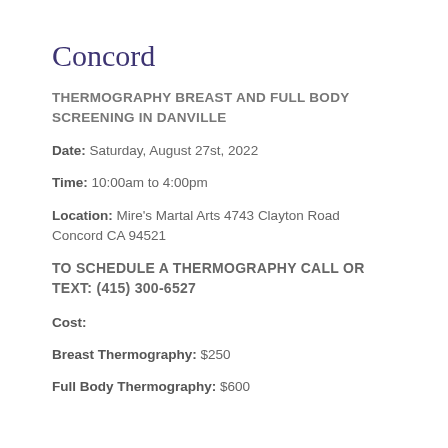Concord
THERMOGRAPHY BREAST AND FULL BODY SCREENING IN DANVILLE
Date:  Saturday, August 27st, 2022
Time: 10:00am to 4:00pm
Location: Mire’s Martal Arts 4743 Clayton Road Concord CA 94521
TO SCHEDULE A THERMOGRAPHY CALL OR TEXT: (415) 300-6527
Cost:
Breast Thermography: $250
Full Body Thermography: $600